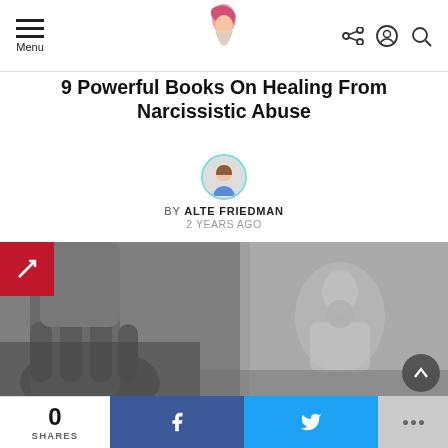Menu | [logo] | [share] [account] [search]
9 Powerful Books On Healing From Narcissistic Abuse
BY ALTE FRIEDMAN
2 YEARS AGO
[Figure (photo): Black and white close-up photo of a hand gripping another hand in the foreground, with a blurred figure of a woman sitting with head down in the background.]
0 SHARES | Facebook share | Twitter share | more